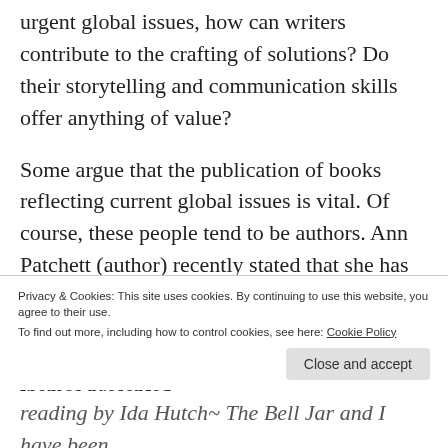urgent global issues, how can writers contribute to the crafting of solutions? Do their storytelling and communication skills offer anything of value?
Some argue that the publication of books reflecting current global issues is vital. Of course, these people tend to be authors. Ann Patchett (author) recently stated that she has moved away from reading classic literature in favour of contemporary texts. She believes that the accountability and challenging themes presented
Privacy & Cookies: This site uses cookies. By continuing to use this website, you agree to their use.
To find out more, including how to control cookies, see here: Cookie Policy
reading by Ida Hutch~ The Bell Jar and I have been